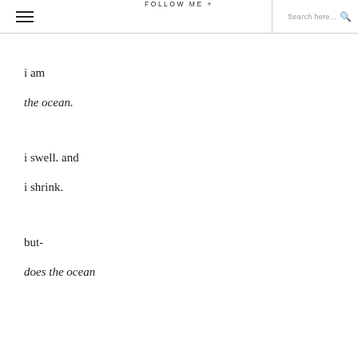FOLLOW ME +   Search here...
i am
the ocean.
i swell. and
i shrink.
but-
does the ocean